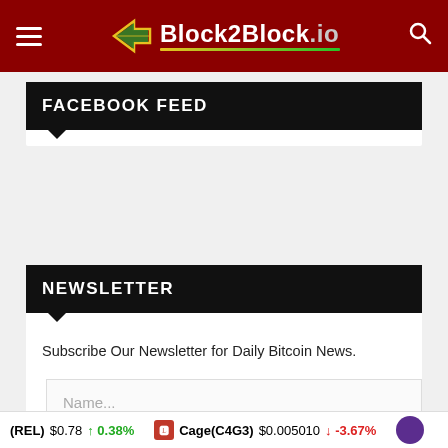Block2Block.io
FACEBOOK FEED
NEWSLETTER
Subscribe Our Newsletter for Daily Bitcoin News.
(REL) $0.78 ↑ 0.38%  Cage(C4G3) $0.005010 ↓ -3.67%